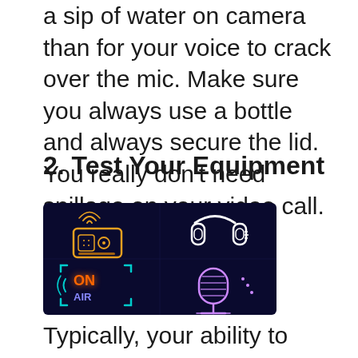a sip of water on camera than for your voice to crack over the mic. Make sure you always use a bottle and always secure the lid. You really don't need spillage on your video call.
2. Test Your Equipment
[Figure (illustration): Neon-style illustration on dark blue background showing four icons: a radio with signal waves, headphones, an 'ON AIR' sign in orange/cyan neon, and a vintage microphone, all drawn in glowing neon outline style.]
Typically, your ability to meet virtually is